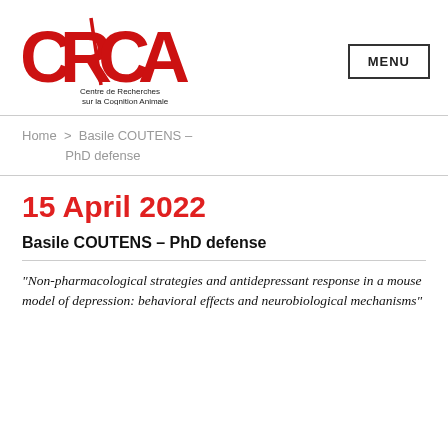[Figure (logo): CRCA logo - Centre de Recherches sur la Cognition Animale, red stylized letters with a diagonal line]
MENU
Home > Basile COUTENS – PhD defense
15 April 2022
Basile COUTENS – PhD defense
"Non-pharmacological strategies and antidepressant response in a mouse model of depression: behavioral effects and neurobiological mechanisms"